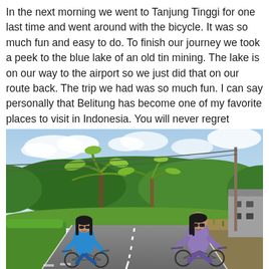In the next morning we went to Tanjung Tinggi for one last time and went around with the bicycle. It was so much fun and easy to do. To finish our journey we took a peek to the blue lake of an old tin mining. The lake is on our way to the airport so we just did that on our route back. The trip we had was so much fun. I can say personally that Belitung has become one of my favorite places to visit in Indonesia. You will never regret coming to this place trust me.
[Figure (photo): Two women wearing sunglasses riding bicycles on a road lined with lush tropical greenery including palm trees. A utility pole with wires is visible on the right side. The sky is partly cloudy and blue. A building is visible on the far right.]